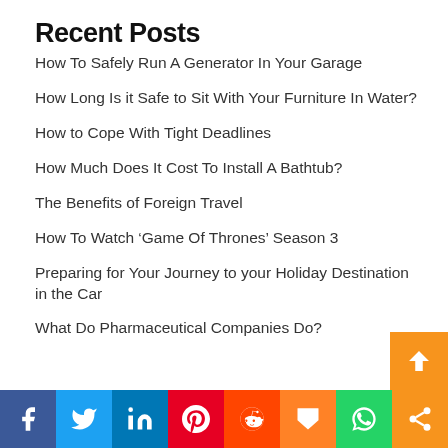Recent Posts
How To Safely Run A Generator In Your Garage
How Long Is it Safe to Sit With Your Furniture In Water?
How to Cope With Tight Deadlines
How Much Does It Cost To Install A Bathtub?
The Benefits of Foreign Travel
How To Watch ‘Game Of Thrones’ Season 3
Preparing for Your Journey to your Holiday Destination in the Car
What Do Pharmaceutical Companies Do?